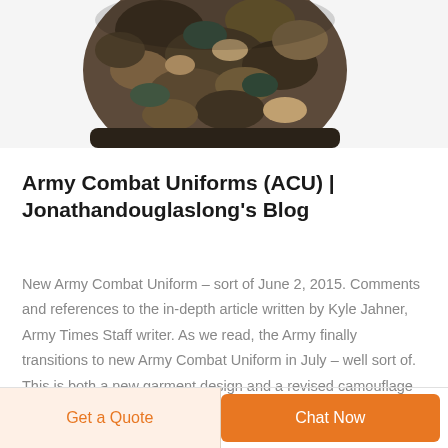[Figure (photo): Partial view of a camouflage military boot/shoe from above, cut off at top of page]
Army Combat Uniforms (ACU) | Jonathandouglaslong’s Blog
New Army Combat Uniform – sort of June 2, 2015. Comments and references to the in-depth article written by Kyle Jahner, Army Times Staff writer. As we read, the Army finally transitions to new Army Combat Uniform in July – well sort of. This is both a new garment design and a revised camouflage
Get a Quote
Chat Now